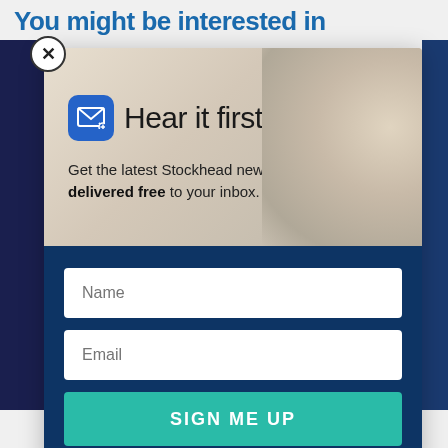You might be interested in
[Figure (screenshot): Modal popup dialog for newsletter signup with a groundhog/animal photo background, mail icon, headline 'Hear it first', tagline about Stockhead news, and a form with Name, Email fields and Sign Me Up button on dark blue background]
Hear it first
Get the latest Stockhead news delivered free to your inbox.
Name
Email
SIGN ME UP